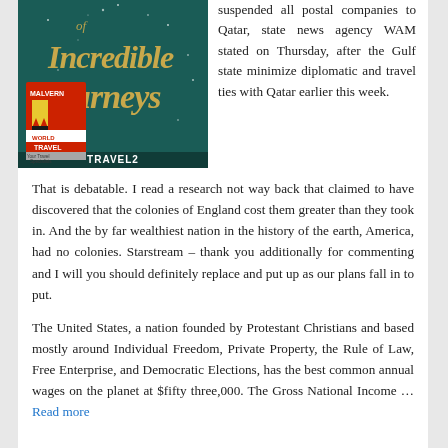[Figure (photo): Travel brochure image featuring 'Incredible Journeys' text on a dark teal background, with Malvern World Travel logo and Travel2 branding]
suspended all postal companies to Qatar, state news agency WAM stated on Thursday, after the Gulf state minimize diplomatic and travel ties with Qatar earlier this week.
That is debatable. I read a research not way back that claimed to have discovered that the colonies of England cost them greater than they took in. And the by far wealthiest nation in the history of the earth, America, had no colonies. Starstream – thank you additionally for commenting and I will you should definitely replace and put up as our plans fall in to put.
The United States, a nation founded by Protestant Christians and based mostly around Individual Freedom, Private Property, the Rule of Law, Free Enterprise, and Democratic Elections, has the best common annual wages on the planet at $fifty three,000. The Gross National Income … Read more